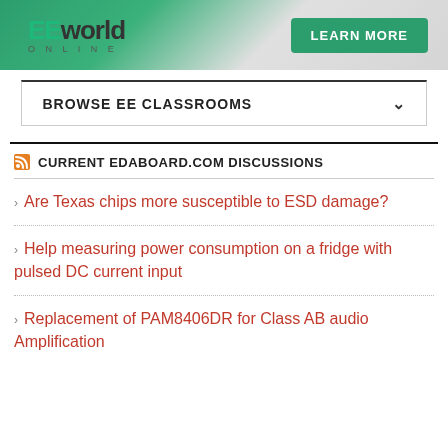[Figure (logo): EEworld Online banner with teal/green gradient background, EE world Online logo in teal and dark text, and a green 'LEARN MORE' button]
BROWSE EE CLASSROOMS
CURRENT EDABOARD.COM DISCUSSIONS
Are Texas chips more susceptible to ESD damage?
Help measuring power consumption on a fridge with pulsed DC current input
Replacement of PAM8406DR for Class AB audio Amplification